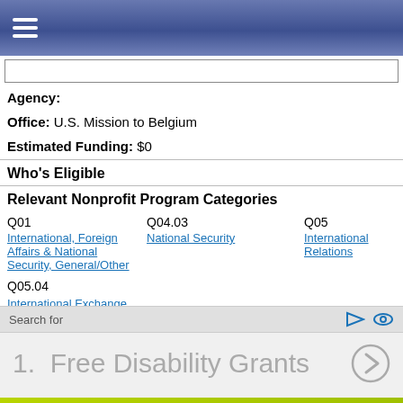☰
Agency:
Office: U.S. Mission to Belgium
Estimated Funding: $0
Who's Eligible
Relevant Nonprofit Program Categories
Q01
International, Foreign Affairs & National Security, General/Other
Q04.03
National Security
Q05
International Relations
Q05.04
International Exchange
People Building Stronger Communities
Search for
1.  Free Disability Grants